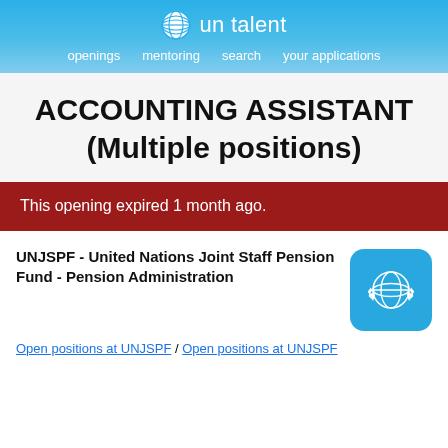un talent | openings  mentoring  search  your applications
ACCOUNTING ASSISTANT (Multiple positions)
This opening expired 1 month ago.
UNJSPF - United Nations Joint Staff Pension Fund - Pension Administration
Open positions at UNJSPF / Open positions at UNJSPF